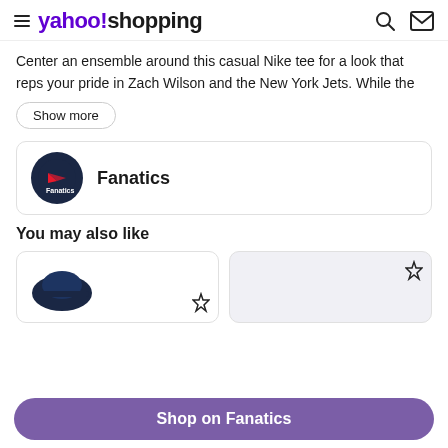yahoo!shopping
Center an ensemble around this casual Nike tee for a look that reps your pride in Zach Wilson and the New York Jets. While the
Show more
[Figure (logo): Fanatics logo in dark navy circle with red arrow icon and text Fanatics]
Fanatics
You may also like
[Figure (photo): Product thumbnails - dark navy hat on left card, light colored item on right card with star icon]
Shop on Fanatics